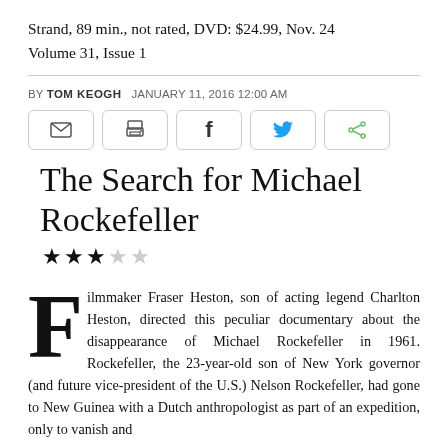Strand, 89 min., not rated, DVD: $24.99, Nov. 24
Volume 31, Issue 1
BY TOM KEOGH   JANUARY 11, 2016 12:00 AM
[Figure (other): Social sharing buttons: email, print, facebook, twitter, share]
The Search for Michael Rockefeller
★★★☆☆ (3 out of 5 stars)
Filmmaker Fraser Heston, son of acting legend Charlton Heston, directed this peculiar documentary about the disappearance of Michael Rockefeller in 1961. Rockefeller, the 23-year-old son of New York governor (and future vice-president of the U.S.) Nelson Rockefeller, had gone to New Guinea with a Dutch anthropologist as part of an expedition, only to vanish and